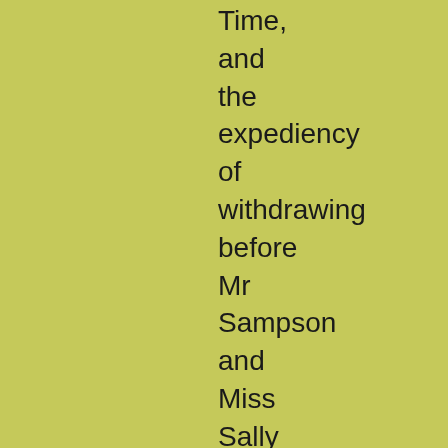Time, and the expediency of withdrawing before Mr Sampson and Miss Sally Brass returned.

'With which object in